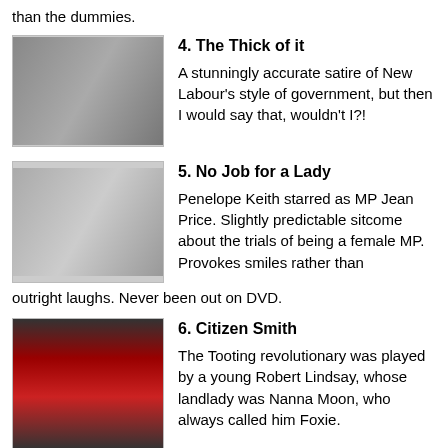than the dummies.
4. The Thick of it — A stunningly accurate satire of New Labour's style of government, but then I would say that, wouldn't I?!
5. No Job for a Lady — Penelope Keith starred as MP Jean Price. Slightly predictable sitcome about the trials of being a female MP. Provokes smiles rather than outright laughs. Never been out on DVD.
6. Citizen Smith — The Tooting revolutionary was played by a young Robert Lindsay, whose landlady was Nanna Moon, who always called him Foxie.
7. My Dad's the Prime Minister — Although this started out as a kids' sitcom it developed into quite a funny take on life in